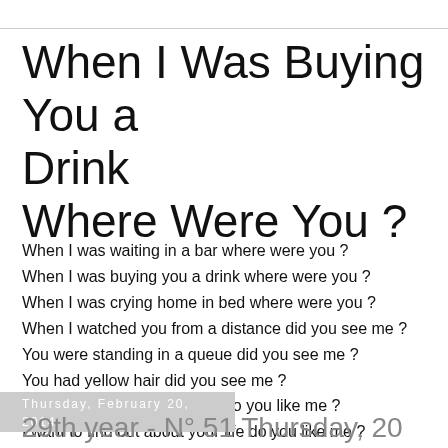When I Was Buying You a Drink
Where Were You ?
When I was waiting in a bar where were you ?
When I was buying you a drink where were you ?
When I was crying home in bed where were you ?
When I watched you from a distance did you see me ?
You were standing in a queue did you see me ?
You had yellow hair did you see me ?
I want to talk to you all night do you like me ?
I want to find out about your life do you like me ?
Could you ever be my wife do you love me ?
Thursday, February 20, 2014
29th year - N° 51 Thursday, 20 February 2014